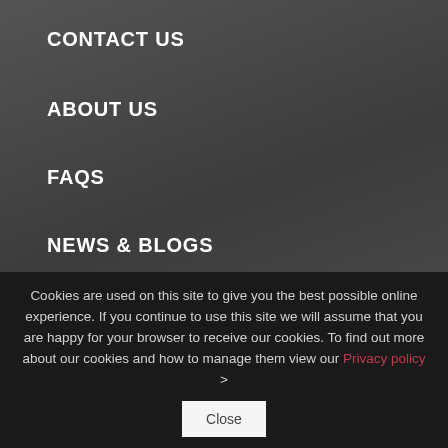CONTACT US
ABOUT US
FAQS
NEWS & BLOGS
SITEMAP
GET A QUOTE
RETRIEVE A QUOTE
Cookies are used on this site to give you the best possible online experience. If you continue to use this site we will assume that you are happy for your browser to receive our cookies. To find out more about our cookies and how to manage them view our Privacy policy > Close